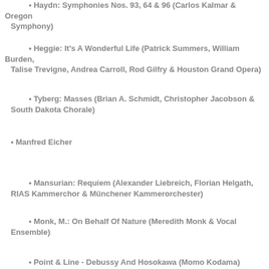Haydn: Symphonies Nos. 93, 64 & 96 (Carlos Kalmar & Oregon Symphony)
Heggie: It's A Wonderful Life (Patrick Summers, William Burden, Talise Trevigne, Andrea Carroll, Rod Gilfry & Houston Grand Opera)
Tyberg: Masses (Brian A. Schmidt, Christopher Jacobson & South Dakota Chorale)
Manfred Eicher
Mansurian: Requiem (Alexander Liebreich, Florian Helgath, RIAS Kammerchor & Münchener Kammerorchester)
Monk, M.: On Behalf Of Nature (Meredith Monk & Vocal Ensemble)
Point & Line - Debussy And Hosokawa (Momo Kodama)